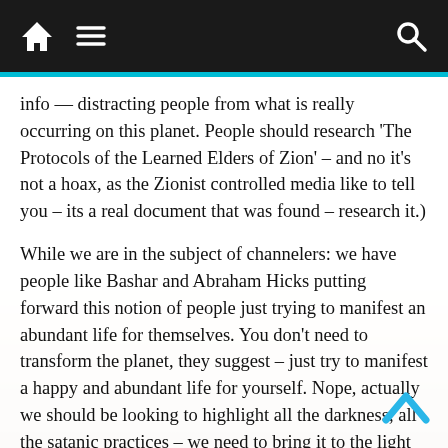Navigation bar with home, menu, and search icons
info — distracting people from what is really occurring on this planet. People should research 'The Protocols of the Learned Elders of Zion' – and no it's not a hoax, as the Zionist controlled media like to tell you – its a real document that was found – research it.)
While we are in the subject of channelers: we have people like Bashar and Abraham Hicks putting forward this notion of people just trying to manifest an abundant life for themselves. You don't need to transform the planet, they suggest – just try to manifest a happy and abundant life for yourself. Nope, actually we should be looking to highlight all the darkness, all the satanic practices – we need to bring it to the light to transform it. We need to work together to create change – helping each other, practical solutions etc – so we need to know where all the